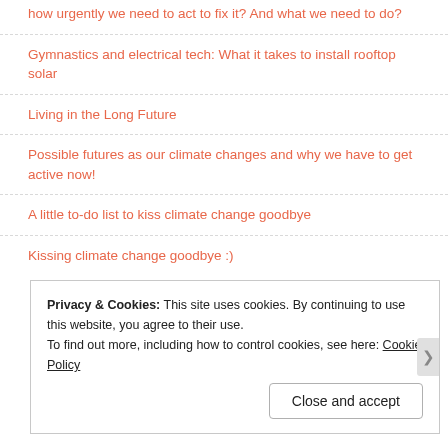how urgently we need to act to fix it? And what we need to do?
Gymnastics and electrical tech: What it takes to install rooftop solar
Living in the Long Future
Possible futures as our climate changes and why we have to get active now!
A little to-do list to kiss climate change goodbye
Kissing climate change goodbye :)
Privacy & Cookies: This site uses cookies. By continuing to use this website, you agree to their use. To find out more, including how to control cookies, see here: Cookie Policy
Close and accept